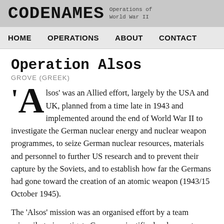CODENAMES Operations of World War II
HOME  OPERATIONS  ABOUT  CONTACT
Operation Alsos
GROVE (GREEK)
'Alsos' was an Allied effort, largely by the USA and UK, planned from a time late in 1943 and implemented around the end of World War II to investigate the German nuclear energy and nuclear weapon programmes, to seize German nuclear resources, materials and personnel to further US research and to prevent their capture by the Soviets, and to establish how far the Germans had gone toward the creation of an atomic weapon (1943/15 October 1945).
The 'Alsos' mission was an organised effort by a team primarily to investigate German scientific developments during World War II,